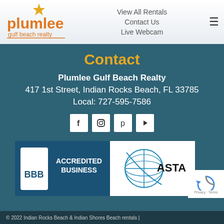[Figure (logo): Plumlee Gulf Beach Realty logo with orange star and orange text]
View All Rentals
Contact Us
Live Webcam
Contact
Plumlee Gulf Beach Realty
417 1st Street, Indian Rocks Beach, FL 33785
Local: 727-595-7586
[Figure (other): Social media icons: Facebook, Instagram, Pinterest, YouTube]
[Figure (logo): BBB Accredited Business badge]
[Figure (logo): ASTA globe logo]
[Figure (other): reCAPTCHA badge]
© 2022 Indian Rocks Beach & Indian Shores Beach rentals |